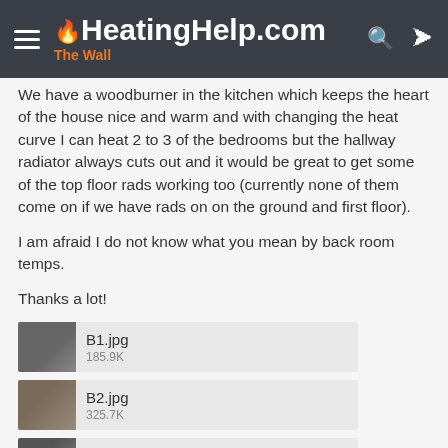HeatingHelp.com — The Wall
We have a woodburner in the kitchen which keeps the heart of the house nice and warm and with changing the heat curve I can heat 2 to 3 of the bedrooms but the hallway radiator always cuts out and it would be great to get some of the top floor rads working too (currently none of them come on if we have rads on on the ground and first floor).
I am afraid I do not know what you mean by back room temps.
Thanks a lot!
[Figure (other): Attachment: B1.jpg, 185.9K]
[Figure (other): Attachment: B2.jpg, 325.7K]
[Figure (other): Attachment: B3 (partial, cropped)]